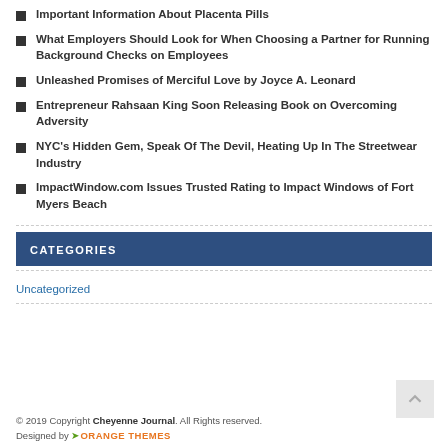Important Information About Placenta Pills
What Employers Should Look for When Choosing a Partner for Running Background Checks on Employees
Unleashed Promises of Merciful Love by Joyce A. Leonard
Entrepreneur Rahsaan King Soon Releasing Book on Overcoming Adversity
NYC's Hidden Gem, Speak Of The Devil, Heating Up In The Streetwear Industry
ImpactWindow.com Issues Trusted Rating to Impact Windows of Fort Myers Beach
CATEGORIES
Uncategorized
© 2019 Copyright Cheyenne Journal. All Rights reserved. Designed by ORANGE THEMES